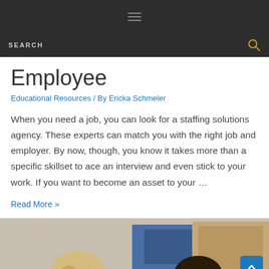SEARCH
Employee
Educational Resources / By Ericka Schmeler
When you need a job, you can look for a staffing solutions agency. These experts can match you with the right job and employer. By now, though, you know it takes more than a specific skillset to ace an interview and even stick to your work. If you want to become an asset to your …
Read More »
[Figure (photo): Photo of people in an office or classroom setting, partially visible at bottom of page]